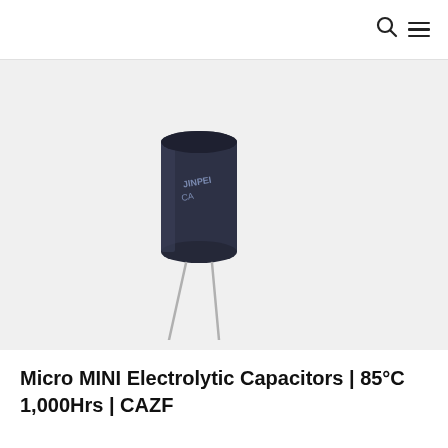navigation header with search and menu icons
[Figure (photo): A small electrolytic capacitor (JINPEI brand, black cylindrical body) with two metal leads extending downward, photographed on a light gray background. The capacitor body shows text 'JINPEI CA' and appears to be a through-hole component.]
Micro MINI Electrolytic Capacitors | 85°C 1,000Hrs | CAZF